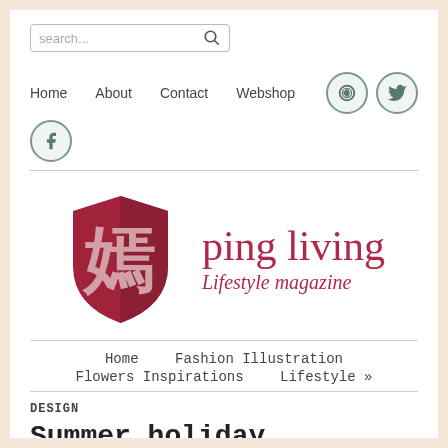search...
Home
About
Contact
Webshop
[Figure (logo): ping living lifestyle magazine logo with Chinese character shield emblem in dark red/crimson and italic serif text]
Home
Fashion Illustration
Flowers Inspirations
Lifestyle »
DESIGN
Summer holiday